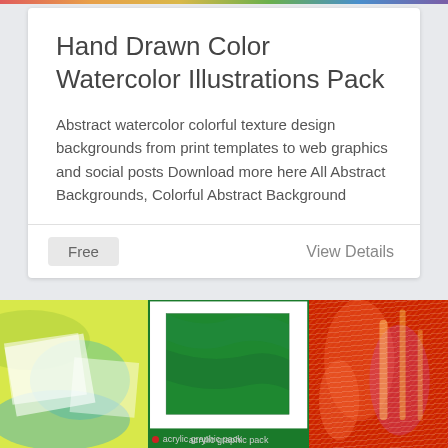Hand Drawn Color Watercolor Illustrations Pack
Abstract watercolor colorful texture design backgrounds from print templates to web graphics and social posts Download more here All Abstract Backgrounds, Colorful Abstract Background
Free
View Details
[Figure (illustration): Three colorful artistic illustration panels: left shows yellow-green watercolor brush strokes with a white square overlay, center shows green acrylic paint on a white card, right shows red and orange textured brush strokes. Bottom label reads 'acrylic graphic pack'.]